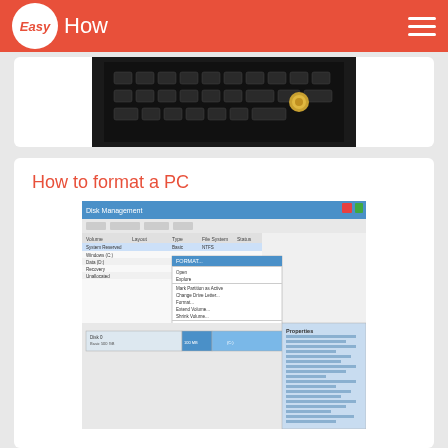EasyHow
[Figure (screenshot): Partial keyboard image (cropped at top of visible area)]
How to format a PC
[Figure (screenshot): Windows Disk Management screenshot showing context menu with disk formatting options]
How to format disk from DOS
[Figure (photo): Close-up photo of a hard disk drive internal components]